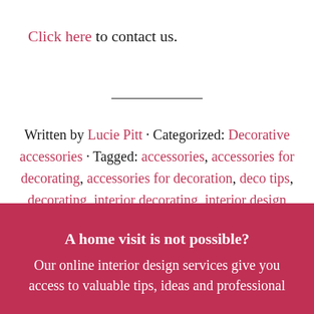Click here to contact us.
Written by Lucie Pitt · Categorized: Decorative accessories · Tagged: accessories, accessories for decorating, accessories for decoration, deco tips, decorating, interior decorating, interior design
A home visit is not possible? Our online interior design services give you access to valuable tips, ideas and professional